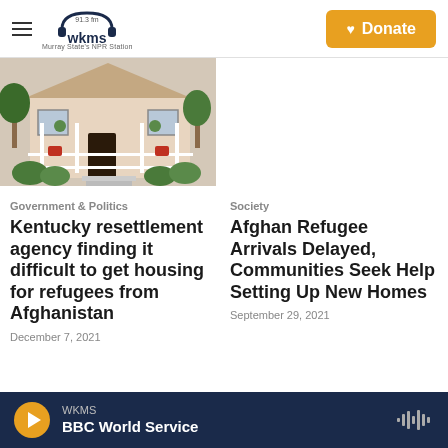WKMS 91.3 fm — Murray State's NPR Station | Donate
[Figure (photo): House with porch, white railings, and trees/shrubs in front yard]
Government & Politics
Kentucky resettlement agency finding it difficult to get housing for refugees from Afghanistan
December 7, 2021
Society
Afghan Refugee Arrivals Delayed, Communities Seek Help Setting Up New Homes
September 29, 2021
WKMS — BBC World Service